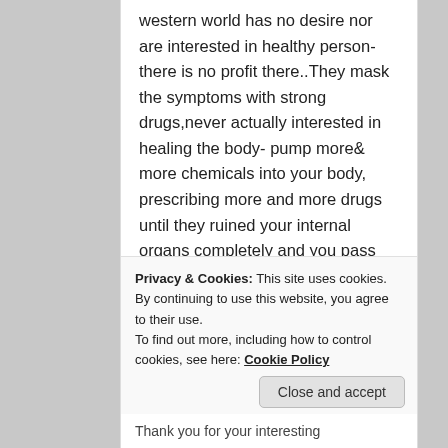western world has no desire nor are interested in healthy person-there is no profit there..They mask the symptoms with strong drugs,never actually interested in healing the body- pump more& more chemicals into your body, prescribing more and more drugs until they ruined your internal organs completely and you pass away-nice doing business with you..Change today-help yourself and you will be rewarded..God bless
★ Like
Privacy & Cookies: This site uses cookies. By continuing to use this website, you agree to their use.
To find out more, including how to control cookies, see here: Cookie Policy
Close and accept
Thank you for your interesting